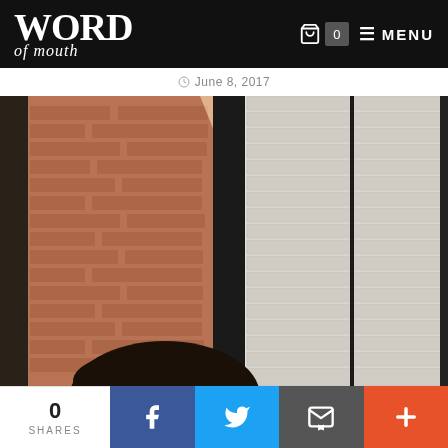WORD of mouth — navigation header with cart (0) and MENU
June 8, 2017
[Figure (photo): A person with dark hair sitting near a window with horizontal blinds and a brick wall visible behind them, light streaming in.]
0 SHARES — Facebook, Twitter, Email, More share buttons